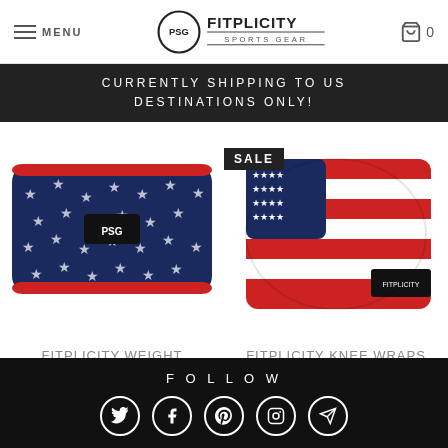MENU | FITPLICITY SPORTS GEAR | 0
CURRENTLY SHIPPING TO US DESTINATIONS ONLY!
[Figure (photo): Fitplicity weight lifting belt with navy blue and white stars pattern and red trim]
FITPLICITY WEIGHT LIFTING BELT FOR MEN & WOMEN
$32.99
[Figure (photo): Fitplicity knee wraps with American flag pattern (red, white, blue stripes and stars) with SALE badge]
FITPLICITY KNEE WRAPS (1 PAIR) - 80"
$21.99 $29.99
FOLLOW